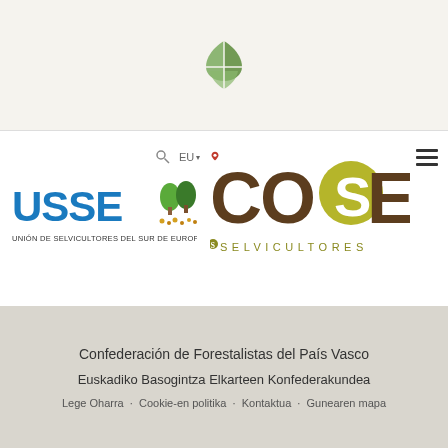[Figure (logo): Green leaf/shield circular logo at the top center of the page]
[Figure (logo): USSE logo - Union de Selvicultores del Sur de Europa, blue text with green tree icons]
[Figure (logo): COSE Selvicultores logo - brown and olive/yellow colored letters]
Confederación de Forestalistas del País Vasco
Euskadiko Basogintza Elkarteen Konfederakundea
Lege Oharra  Cookie-en politika  Kontaktua  Gunearen mapa